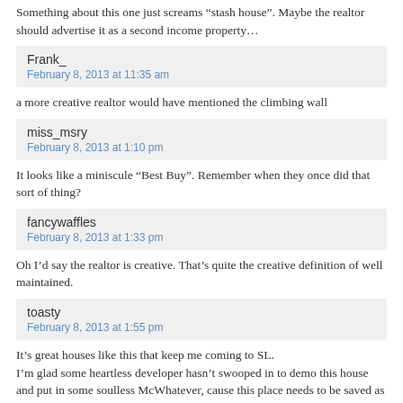Something about this one just screams “stash house”. Maybe the realtor should advertise it as a second income property…
Frank_
February 8, 2013 at 11:35 am
a more creative realtor would have mentioned the climbing wall
miss_msry
February 8, 2013 at 1:10 pm
It looks like a miniscule “Best Buy”. Remember when they once did that sort of thing?
fancywaffles
February 8, 2013 at 1:33 pm
Oh I’d say the realtor is creative. That’s quite the creative definition of well maintained.
toasty
February 8, 2013 at 1:55 pm
It’s great houses like this that keep me coming to SL.
I’m glad some heartless developer hasn’t swooped in to demo this house and put in some soulless McWhatever, cause this place needs to be saved as part of the herritage of our fair city.